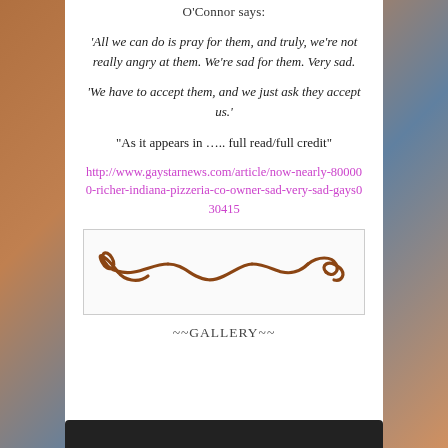O'Connor says:
‘All we can do is pray for them, and truly, we’re not really angry at them. We’re sad for them. Very sad.
‘We have to accept them, and we just ask they accept us.’
“As it appears in ….. full read/full credit”
http://www.gaystarnews.com/article/now-nearly-800000-richer-indiana-pizzeria-co-owner-sad-very-sad-gays030415
[Figure (illustration): Decorative scrollwork/flourish ornament in brown color inside a bordered box]
~~GALLERY~~